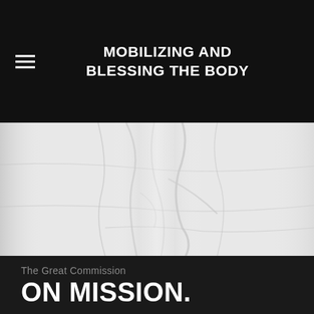MOBILIZING AND BLESSING THE BODY
[Figure (photo): Close-up photograph of white wrinkled/crumpled fabric or cloth with natural creases and folds, shown in grayscale]
The Great Commission
ON MISSION.